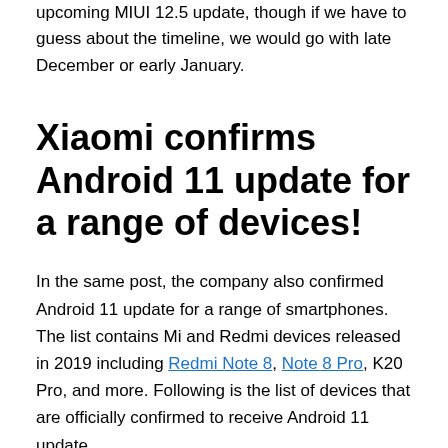upcoming MIUI 12.5 update, though if we have to guess about the timeline, we would go with late December or early January.
Xiaomi confirms Android 11 update for a range of devices!
In the same post, the company also confirmed Android 11 update for a range of smartphones. The list contains Mi and Redmi devices released in 2019 including Redmi Note 8, Note 8 Pro, K20 Pro, and more. Following is the list of devices that are officially confirmed to receive Android 11 update,
Redmi Note 8, Redmi Note 8 Pro
Redmi K20 Pro